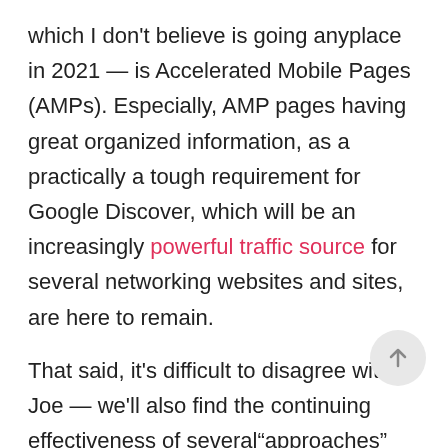which I don't believe is going anyplace in 2021 — is Accelerated Mobile Pages (AMPs). Especially, AMP pages having great organized information, as a practically a tough requirement for Google Discover, which will be an increasingly powerful traffic source for several networking websites and sites, are here to remain.

That said, it's difficult to disagree with Joe — we'll also find the continuing effectiveness of several"approaches" (or instead approaches ) which were notable for a while — such as inner linking